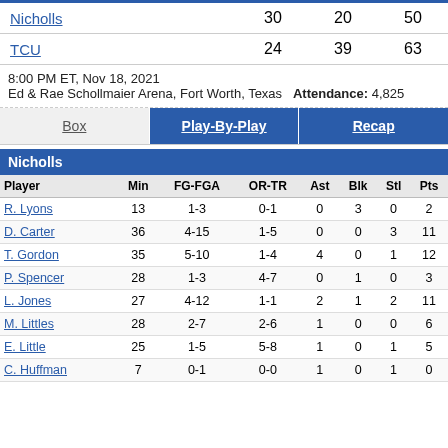| Team | H1 | H2 | Final |
| --- | --- | --- | --- |
| Nicholls | 30 | 20 | 50 |
| TCU | 24 | 39 | 63 |
8:00 PM ET, Nov 18, 2021
Ed & Rae Schollmaier Arena, Fort Worth, Texas  Attendance: 4,825
Box | Play-By-Play | Recap
Nicholls
| Player | Min | FG-FGA | OR-TR | Ast | Blk | Stl | Pts |
| --- | --- | --- | --- | --- | --- | --- | --- |
| R. Lyons | 13 | 1-3 | 0-1 | 0 | 3 | 0 | 2 |
| D. Carter | 36 | 4-15 | 1-5 | 0 | 0 | 3 | 11 |
| T. Gordon | 35 | 5-10 | 1-4 | 4 | 0 | 1 | 12 |
| P. Spencer | 28 | 1-3 | 4-7 | 0 | 1 | 0 | 3 |
| L. Jones | 27 | 4-12 | 1-1 | 2 | 1 | 2 | 11 |
| M. Littles | 28 | 2-7 | 2-6 | 1 | 0 | 0 | 6 |
| E. Little | 25 | 1-5 | 5-8 | 1 | 0 | 1 | 5 |
| C. Huffman | 7 | 0-1 | 0-0 | 1 | 0 | 1 | 0 |